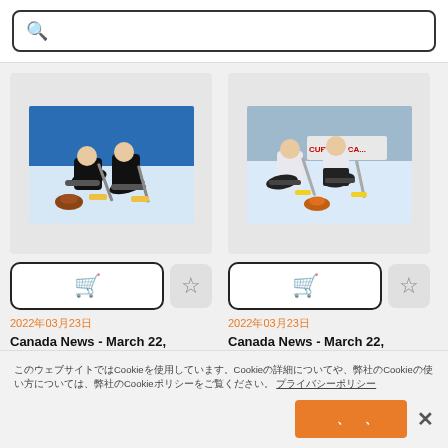カーリング（検索プレースホルダー）
[Figure (photo): Two curling players sweeping in black uniforms on an indoor curling rink, with blue boards and curling stones visible]
[Figure (photo): Two curling players sweeping in white uniforms on an indoor curling rink with Curling Canada signage visible]
2022年03月23日
Canada News - March 22,
2022年03月23日
Canada News - March 22,
このウェブサイトではCookieを使用しています。Cookieの詳細についてや、弊社のCookieの使い方については、弊社のCookieポリシーをご覧ください。 プライバシーポリシー